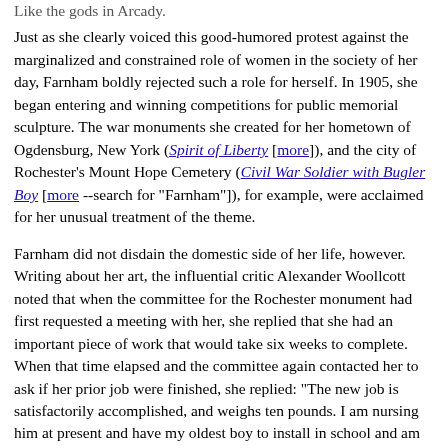Like the gods in Arcady.
Just as she clearly voiced this good-humored protest against the marginalized and constrained role of women in the society of her day, Farnham boldly rejected such a role for herself. In 1905, she began entering and winning competitions for public memorial sculpture. The war monuments she created for her hometown of Ogdensburg, New York (Spirit of Liberty [more]), and the city of Rochester's Mount Hope Cemetery (Civil War Soldier with Bugler Boy [more --search for "Farnham"]), for example, were acclaimed for her unusual treatment of the theme.
Farnham did not disdain the domestic side of her life, however. Writing about her art, the influential critic Alexander Woollcott noted that when the committee for the Rochester monument had first requested a meeting with her, she replied that she had an important piece of work that would take six weeks to complete. When that time elapsed and the committee again contacted her to ask if her prior job were finished, she replied: "The new job is satisfactorily accomplished, and weighs ten pounds. I am nursing him at present and have my oldest boy to install in school and am moving into town for the winter, and I also have a few guests to entertain, but I think I can tackle your monument next week."
Around this time, Sally was chosen by the social activist Jacob Riis to model a bas-relief plaque of Theodore Roosevelt [more] to be